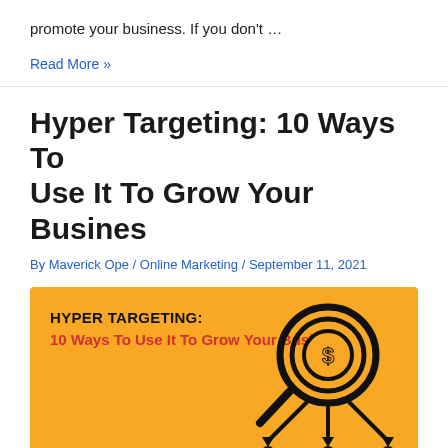promote your business. If you don't …
Read More »
Hyper Targeting: 10 Ways To Use It To Grow Your Busines
By Maverick Ope / Online Marketing / September 11, 2021
[Figure (illustration): Orange banner image with black bold text 'HYPER TARGETING:' and red text '10 Ways To Use It To Grow Your Busines', alongside a magnifying glass icon with a dollar coin and people figures below it.]